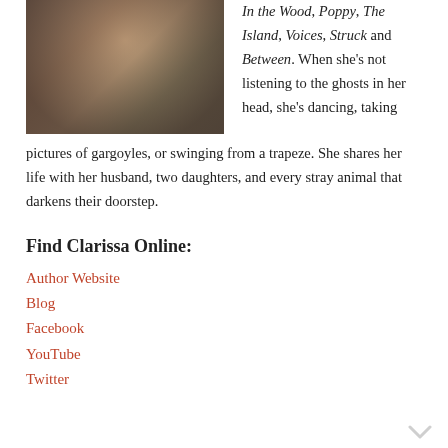[Figure (photo): Author photo of a woman with dark hair against a leafy background]
In the Wood, Poppy, The Island, Voices, Struck and Between. When she's not listening to the ghosts in her head, she's dancing, taking pictures of gargoyles, or swinging from a trapeze. She shares her life with her husband, two daughters, and every stray animal that darkens their doorstep.
Find Clarissa Online:
Author Website
Blog
Facebook
YouTube
Twitter